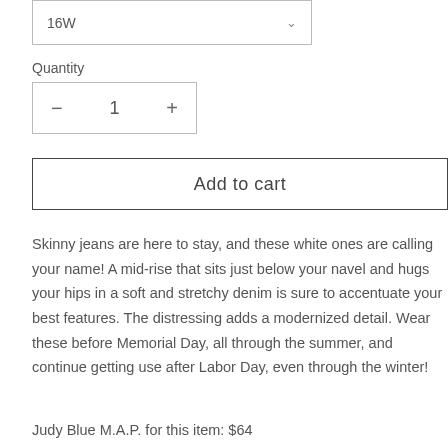16W
Quantity
- 1 +
Add to cart
Skinny jeans are here to stay, and these white ones are calling your name! A mid-rise that sits just below your navel and hugs your hips in a soft and stretchy denim is sure to accentuate your best features. The distressing adds a modernized detail. Wear these before Memorial Day, all through the summer, and continue getting use after Labor Day, even through the winter!
Judy Blue M.A.P. for this item: $64